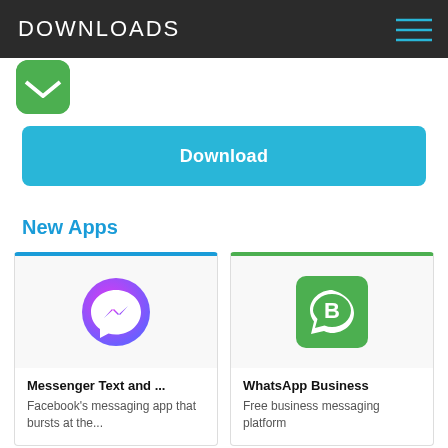DOWNLOADS
[Figure (screenshot): Green app icon (partially visible, rounded rectangle)]
Download
New Apps
[Figure (logo): Facebook Messenger app icon — purple-pink gradient circle with white lightning bolt / chat symbol]
Messenger Text and ...
Facebook's messaging app that bursts at the...
[Figure (logo): WhatsApp Business app icon — green square with white speech bubble containing letter B]
WhatsApp Business
Free business messaging platform